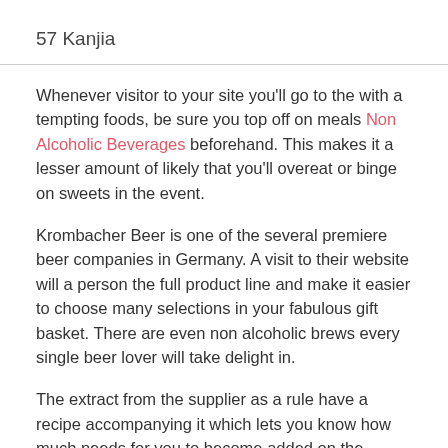57 Kanjia
Whenever visitor to your site you’ll go to the with a tempting foods, be sure you top off on meals Non Alcoholic Beverages beforehand. This makes it a lesser amount of likely that you’ll overeat or binge on sweets in the event.
Krombacher Beer is one of the several premiere beer companies in Germany. A visit to their website will a person the full product line and make it easier to choose many selections in your fabulous gift basket. There are even non alcoholic brews every single beer lover will take delight in.
The extract from the supplier as a rule have a recipe accompanying it which lets you know how much needs for you to become added on the boiling, sugar holding, cold water. But once you start having the hang of developing